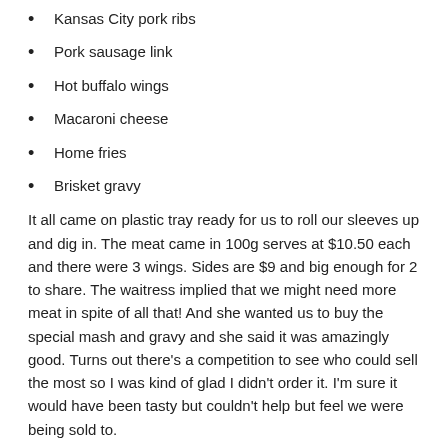Kansas City pork ribs
Pork sausage link
Hot buffalo wings
Macaroni cheese
Home fries
Brisket gravy
It all came on plastic tray ready for us to roll our sleeves up and dig in. The meat came in 100g serves at $10.50 each and there were 3 wings. Sides are $9 and big enough for 2 to share. The waitress implied that we might need more meat in spite of all that! And she wanted us to buy the special mash and gravy and she said it was amazingly good. Turns out there's a competition to see who could sell the most so I was kind of glad I didn't order it. I'm sure it would have been tasty but couldn't help but feel we were being sold to.
I enjoyed the wings and the brisket was tender and smoky. Steve found the chopped pork dry; I thought it was bland. Pork ribs was flavoursome but the meat had to be gnawed off the bone as it wasn't fall off the bone tender. Sausage was ok; the outer skin was tough.